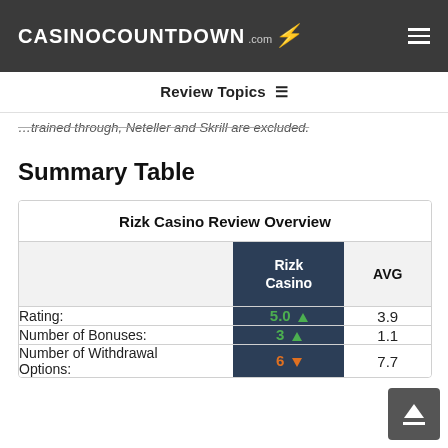CASINOCOUNTDOWN .com [lightning bolt]
Review Topics ≡
...trained through Neteller and Skrill are excluded.
Summary Table
|  | Rizk Casino | AVG |
| --- | --- | --- |
| Rating: | 5.0 ▲ | 3.9 |
| Number of Bonuses: | 3 ▲ | 1.1 |
| Number of Withdrawal Options: | 6 ▼ | 7.7 |